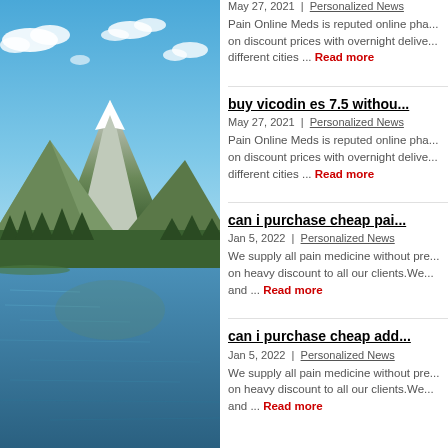[Figure (photo): Mountain landscape with snow-capped peaks, green forested hills, and a blue lake in the foreground under a partly cloudy blue sky.]
May 27, 2021 | Personalized News
Pain Online Meds is reputed online pha... on discount prices with overnight delive... different cities ... Read more
buy vicodin es 7.5 withou...
May 27, 2021 | Personalized News
Pain Online Meds is reputed online pha... on discount prices with overnight delive... different cities ... Read more
can i purchase cheap pai...
Jan 5, 2022 | Personalized News
We supply all pain medicine without pre... on heavy discount to all our clients.We... and ... Read more
can i purchase cheap add...
Jan 5, 2022 | Personalized News
We supply all pain medicine without pre... on heavy discount to all our clients.We... and ... Read more